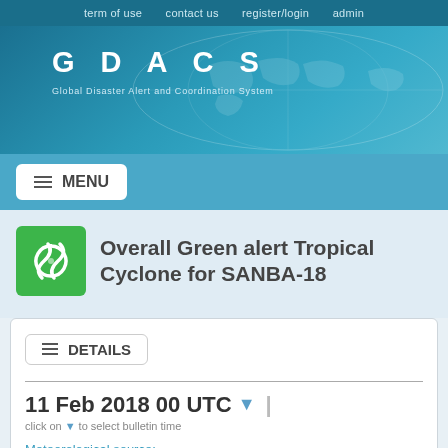term of use   contact us   register/login   admin
[Figure (logo): GDACS logo with world map background. Text: GDACS (Global Disaster Alert and Coordination System)]
Overall Green alert Tropical Cyclone for SANBA-18
DETAILS
11 Feb 2018 00 UTC
click on to select bulletin time
Meteorological source:
GDACS JTWC
Impact Single TC